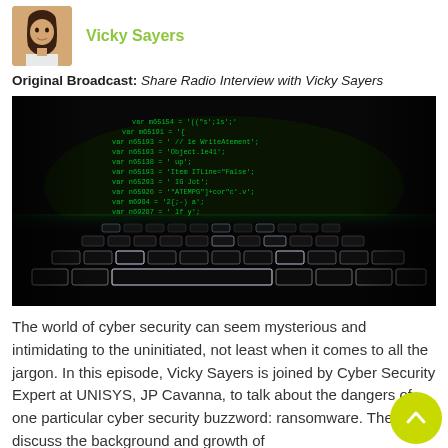[Figure (photo): Author photo of Vicky Sayers, a woman with dark hair]
Vicky Sayers
Original Broadcast: Share Radio Interview with Vicky Sayers
[Figure (photo): Dark background with green computer code text visible on a screen above a glowing keyboard — a hacker/cyber security themed image]
The world of cyber security can seem mysterious and intimidating to the uninitiated, not least when it comes to all the jargon. In this episode, Vicky Sayers is joined by Cyber Security Expert at UNISYS, JP Cavanna, to talk about the dangers of one particular cyber security buzzword: ransomware. They discuss the background and growth of